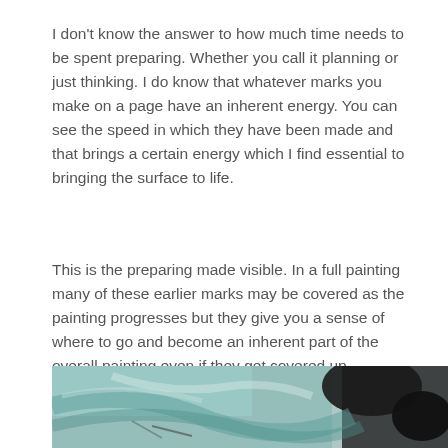I don't know the answer to how much time needs to be spent preparing. Whether you call it planning or just thinking. I do know that whatever marks you make on a page have an inherent energy. You can see the speed in which they have been made and that brings a certain energy which I find essential to bringing the surface to life.
This is the preparing made visible. In a full painting many of these earlier marks may be covered as the painting progresses but they give you a sense of where to go and become an inherent part of the overall painting even if they get covered up.
[Figure (photo): A close-up photograph of a painting in progress showing teal/green and dark brushstrokes with an abstract texture.]